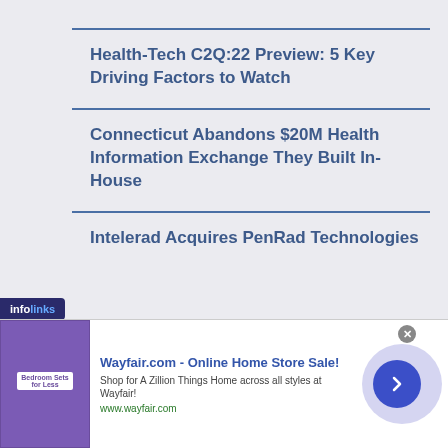Health-Tech C2Q:22 Preview: 5 Key Driving Factors to Watch
Connecticut Abandons $20M Health Information Exchange They Built In-House
Intelerad Acquires PenRad Technologies
Wayfair.com - Online Home Store Sale!
Shop for A Zillion Things Home across all styles at Wayfair!
www.wayfair.com